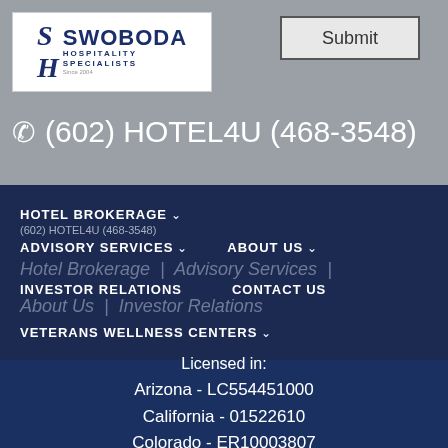[Figure (logo): Swoboda Hospitality Specialists logo with SH monogram and company name]
Submit
(602) HOTEL4U (468-3548)
HOTEL BROKERAGE ∨
(602) HOTEL4U (468-3548)
ADVISORY SERVICES ∨
ABOUT US ∨
INVESTOR RELATIONS
CONTACT US
Hotel Brokerage | Advisory Services | About Us | Investor Relations
VETERANS WELLNESS CENTERS ∨
Licensed in:
Arizona - LC554451000
California - 01522610
Colorado - ER10003807